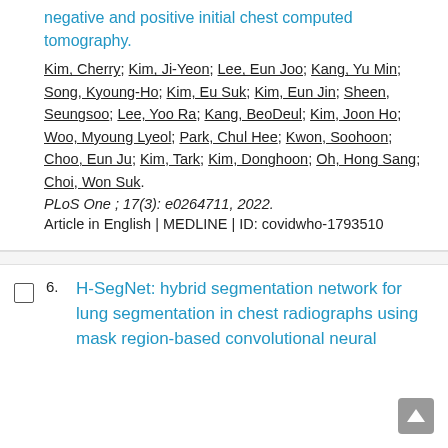negative and positive initial chest computed tomography.
Kim, Cherry; Kim, Ji-Yeon; Lee, Eun Joo; Kang, Yu Min; Song, Kyoung-Ho; Kim, Eu Suk; Kim, Eun Jin; Sheen, Seungsoo; Lee, Yoo Ra; Kang, BeoDeul; Kim, Joon Ho; Woo, Myoung Lyeol; Park, Chul Hee; Kwon, Soohoon; Choo, Eun Ju; Kim, Tark; Kim, Donghoon; Oh, Hong Sang; Choi, Won Suk.
PLoS One ; 17(3): e0264711, 2022.
Article in English | MEDLINE | ID: covidwho-1793510
H-SegNet: hybrid segmentation network for lung segmentation in chest radiographs using mask region-based convolutional neural